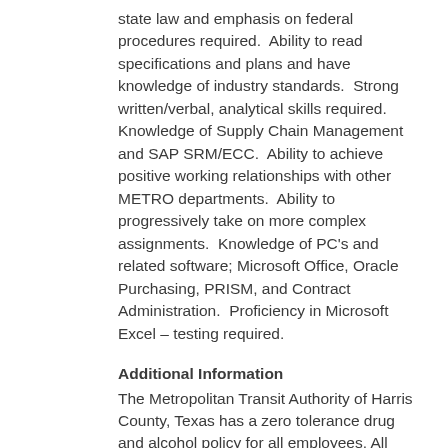state law and emphasis on federal procedures required.  Ability to read specifications and plans and have knowledge of industry standards.  Strong written/verbal, analytical skills required.  Knowledge of Supply Chain Management and SAP SRM/ECC.  Ability to achieve positive working relationships with other METRO departments.  Ability to progressively take on more complex assignments.  Knowledge of PC's and related software; Microsoft Office, Oracle Purchasing, PRISM, and Contract Administration.  Proficiency in Microsoft Excel – testing required.
Additional Information
The Metropolitan Transit Authority of Harris County, Texas has a zero tolerance drug and alcohol policy for all employees. All internal and external applicants will be required to undergo drug testing before employment and will be